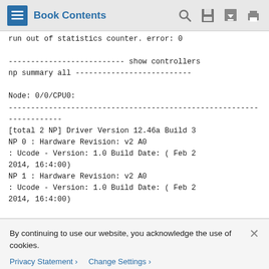Book Contents
run out of statistics counter. error: 0

-------------------------- show controllers np summary all --------------------------

Node: 0/0/CPU0:
--------------------------------------------------------------------
[total 2 NP] Driver Version 12.46a Build 3
NP 0 : Hardware Revision: v2 A0
: Ucode - Version: 1.0 Build Date: ( Feb 2 2014, 16:4:00)
NP 1 : Hardware Revision: v2 A0
: Ucode - Version: 1.0 Build Date: ( Feb 2 2014, 16:4:00)
By continuing to use our website, you acknowledge the use of cookies.
Privacy Statement > Change Settings >